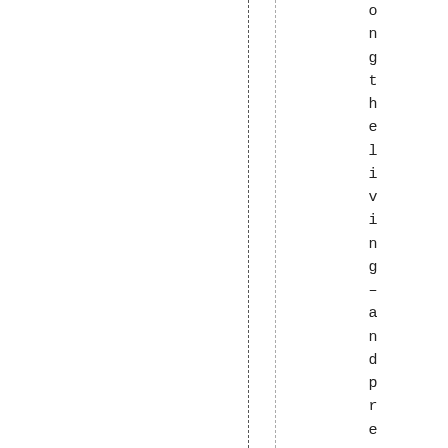on the living–and presumably happ